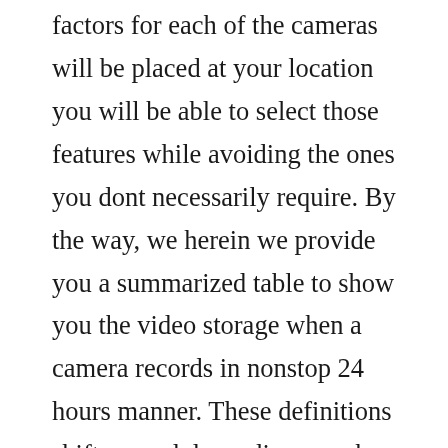factors for each of the cameras will be placed at your location you will be able to select those features while avoiding the ones you dont necessarily require. By the way, we herein we provide you a summarized table to show you the video storage when a camera records in nonstop 24 hours manner. These definitions shift around depending on who you speak with or what vendor is doing the talking but those are the. Network video recorder nvr and video management systems. Most common are hd compression codec, resolution, and whether the dvr is set for